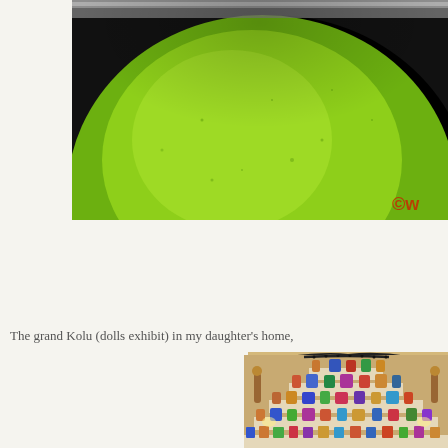[Figure (photo): Close-up photograph of a green fruit (likely a raw mango or similar) on a dark background with a metal rim visible and a partially visible red watermark text in the corner.]
The grand Kolu (dolls exhibit) in my daughter's home,
[Figure (photo): Photograph of a traditional South Indian Kolu (Golu/Navarathri dolls exhibit) — a stepped pyramid display shelf covered with white cloth, arranged with colorful Hindu deity figurines and dolls at multiple tiers, set against a warm-toned wall.]